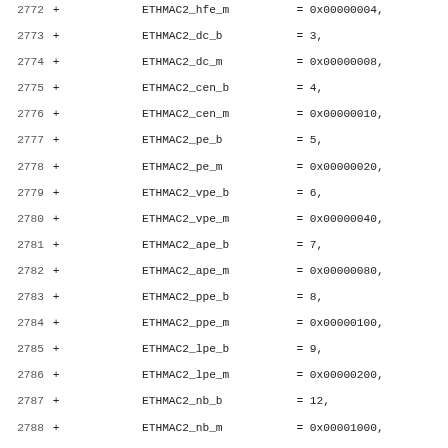Code listing lines 2772-2803+: enum entries for ETHMAC2, ETHIPGT, ETHIPGR, ETHCLRT constants with bit positions and masks